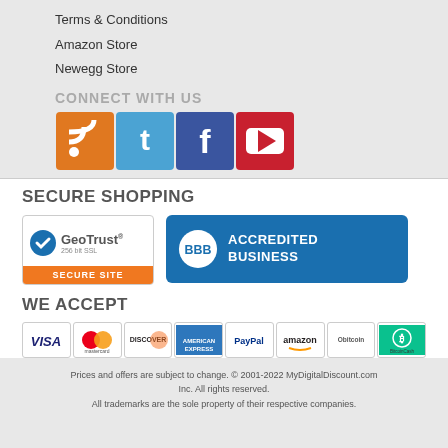Terms & Conditions
Amazon Store
Newegg Store
CONNECT WITH US
[Figure (infographic): Social media icons: RSS (orange), Twitter (blue), Facebook (dark blue), YouTube (red)]
SECURE SHOPPING
[Figure (logo): GeoTrust 256 bit SSL Secure Site badge and BBB Accredited Business badge]
WE ACCEPT
[Figure (infographic): Payment method logos: VISA, Mastercard, Discover, American Express, PayPal, Amazon, Bitcoin, BitcoinCash]
Prices and offers are subject to change. © 2001-2022 MyDigitalDiscount.com Inc. All rights reserved. All trademarks are the sole property of their respective companies.